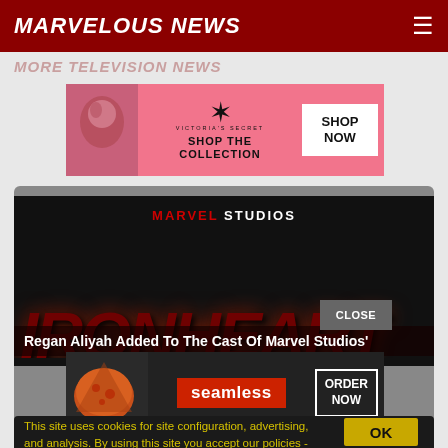MARVELOUS NEWS
MORE TELEVISION NEWS
[Figure (advertisement): Victoria's Secret advertisement with pink background, model photo, VS symbol, brand name, 'SHOP THE COLLECTION' text, and 'SHOP NOW' button]
[Figure (photo): Marvel Studios Ironheart promotional image with dark background, Marvel Studios logo text, large 'IRONHEART' text in dark red]
Regan Aliyah Added To The Cast Of Marvel Studios'
[Figure (advertisement): Seamless food delivery advertisement with pizza image, Seamless logo in red, and 'ORDER NOW' button]
CLOSE
This site uses cookies for site configuration, advertising, and analysis. By using this site you accept our policies - Read Full Site Policy
OK